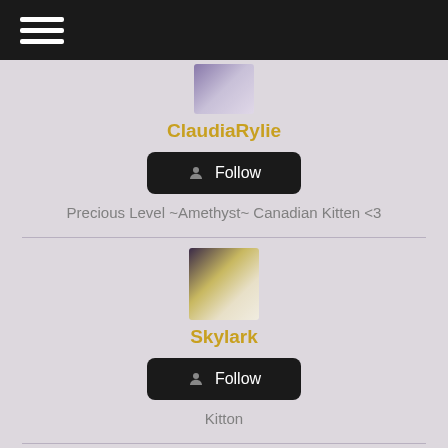Navigation menu
[Figure (photo): Profile photo of ClaudiaRylie, partially visible at top]
ClaudiaRylie
Follow
Precious Level ~Amethyst~ Canadian Kitten <3
[Figure (photo): Profile photo of Skylark, blonde woman with light hair]
Skylark
Follow
Kitton
[Figure (photo): Profile photo of third user, partially visible at bottom with pink tones]